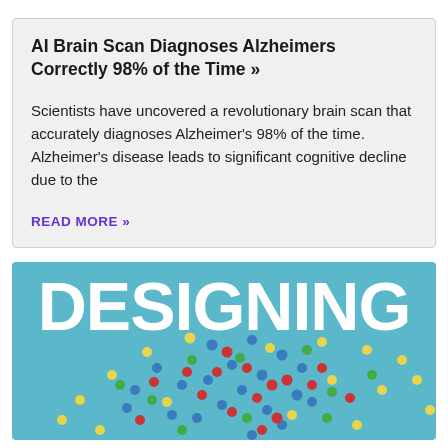AI Brain Scan Diagnoses Alzheimers Correctly 98% of the Time »
Scientists have uncovered a revolutionary brain scan that accurately diagnoses Alzheimer's 98% of the time. Alzheimer's disease leads to significant cognitive decline due to the
READ MORE »
[Figure (illustration): Book cover or promotional image with large white text 'DESIGNING' on a teal/light blue background, with colorful dots (red, blue, yellow, green) arranged in a pattern below the text suggesting a network or brain-like structure.]